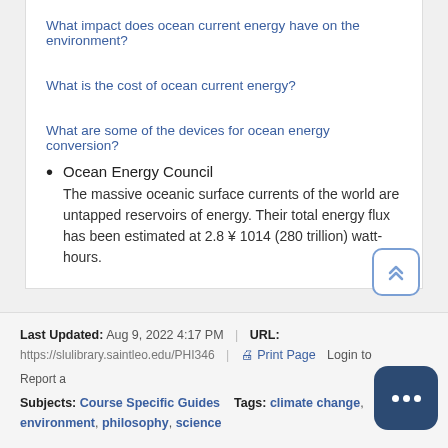What impact does ocean current energy have on the environment?
What is the cost of ocean current energy?
What are some of the devices for ocean energy conversion?
Ocean Energy Council
The massive oceanic surface currents of the world are untapped reservoirs of energy. Their total energy flux has been estimated at 2.8 ¥ 1014 (280 trillion) watt-hours.
Last Updated: Aug 9, 2022 4:17 PM | URL: https://slulibrary.saintleo.edu/PHI346 | Print Page | Login to | Report a | Subjects: Course Specific Guides  Tags: climate change, environment, philosophy, science